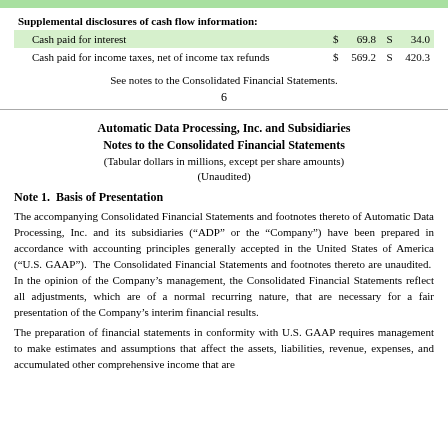|  | $ |  | $ |  |
| --- | --- | --- | --- | --- |
| Supplemental disclosures of cash flow information: |  |  |  |  |
| Cash paid for interest | $ | 69.8 | S | 34.0 |
| Cash paid for income taxes, net of income tax refunds | $ | 569.2 | S | 420.3 |
See notes to the Consolidated Financial Statements.
6
Automatic Data Processing, Inc. and Subsidiaries
Notes to the Consolidated Financial Statements
(Tabular dollars in millions, except per share amounts)
(Unaudited)
Note 1.  Basis of Presentation
The accompanying Consolidated Financial Statements and footnotes thereto of Automatic Data Processing, Inc. and its subsidiaries (“ADP” or the “Company”) have been prepared in accordance with accounting principles generally accepted in the United States of America (“U.S. GAAP”).  The Consolidated Financial Statements and footnotes thereto are unaudited.  In the opinion of the Company’s management, the Consolidated Financial Statements reflect all adjustments, which are of a normal recurring nature, that are necessary for a fair presentation of the Company’s interim financial results.
The preparation of financial statements in conformity with U.S. GAAP requires management to make estimates and assumptions that affect the assets, liabilities, revenue, expenses, and accumulated other comprehensive income that are